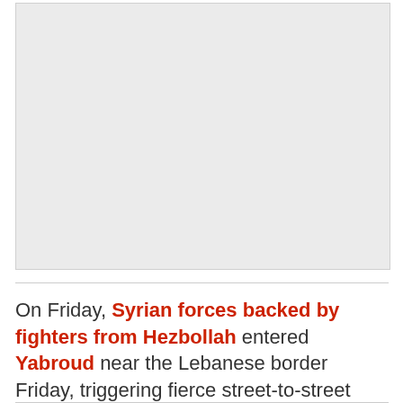[Figure (photo): Placeholder image region — gray rectangle representing a photo or media content]
On Friday, Syrian forces backed by fighters from Hezbollah entered Yabroud near the Lebanese border Friday, triggering fierce street-to-street fighting in the town.